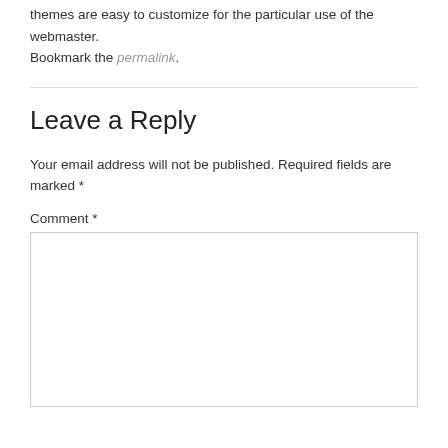themes are easy to customize for the particular use of the webmaster. Bookmark the permalink.
Leave a Reply
Your email address will not be published. Required fields are marked *
Comment *
[Figure (other): Empty comment text area input box]